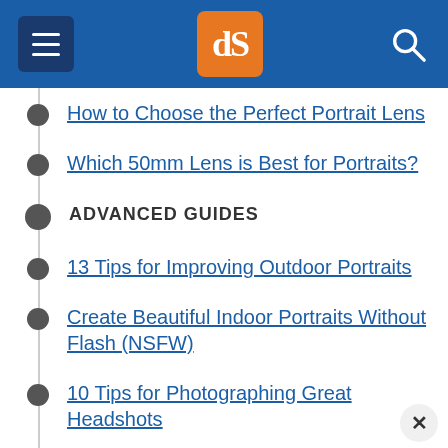dPS navigation header with hamburger menu, dPS logo, and search icon
How to Choose the Perfect Portrait Lens
Which 50mm Lens is Best for Portraits?
ADVANCED GUIDES
13 Tips for Improving Outdoor Portraits
Create Beautiful Indoor Portraits Without Flash (NSFW)
10 Tips for Photographing Great Headshots
3 Simple Ways to Create Stunning Eyes in Your Portrait Photography
11 Tips for Photographing High School Senio…